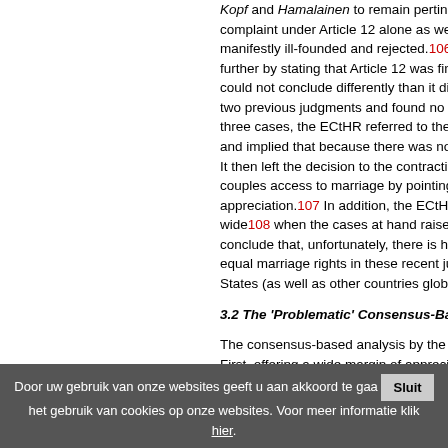Kopf and Hamalainen to remain pertinent. complaint under Article 12 alone as well as manifestly ill-founded and rejected.106 The further by stating that Article 12 was finally could not conclude differently than it did in two previous judgments and found no viola three cases, the ECtHR referred to the num and implied that because there was no maj It then left the decision to the contracting S couples access to marriage by pointing out appreciation.107 In addition, the ECtHR ack wide108 when the cases at hand raise sens conclude that, unfortunately, there is hardly equal marriage rights in these recent judgm States (as well as other countries globally)
3.2 The 'Problematic' Consensus-Based An
The consensus-based analysis by the ECt First, offering a wide margin of appreciatio minorities, considering that States do not a dealing with sensitive moral or ethical issue interest in the interest of the bala
Door uw gebruik van onze websites geeft u aan akkoord te gaa het gebruik van cookies op onze websites. Voor meer informatie klik hier.